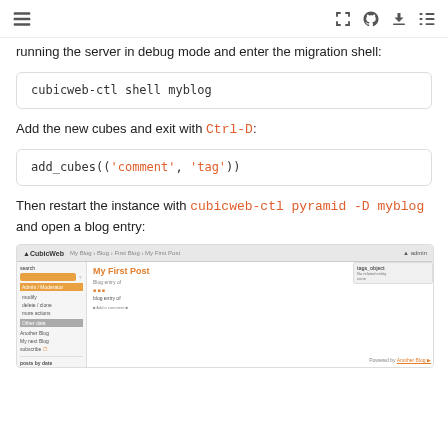☰  [icons: fullscreen, github, download, list]
running the server in debug mode and enter the migration shell:
cubicweb-ctl shell myblog
Add the new cubes and exit with Ctrl-D:
add_cubes(('comment', 'tag'))
Then restart the instance with cubicweb-ctl pyramid -D myblog and open a blog entry:
[Figure (screenshot): Screenshot of a CubicWeb blog interface showing 'My First Post' blog entry page with sidebar navigation, tag section, and blog entry content.]